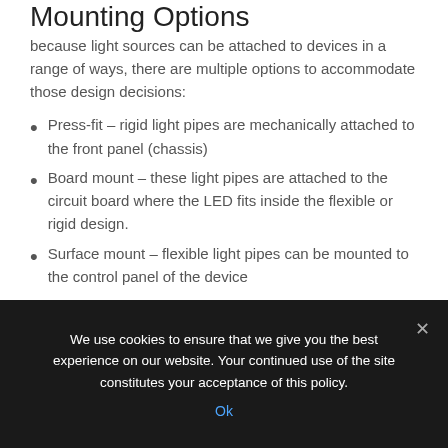Mounting Options
because light sources can be attached to devices in a range of ways, there are multiple options to accommodate those design decisions:
Press-fit – rigid light pipes are mechanically attached to the front panel (chassis)
Board mount – these light pipes are attached to the circuit board where the LED fits inside the flexible or rigid design.
Surface mount – flexible light pipes can be mounted to the control panel of the device
We use cookies to ensure that we give you the best experience on our website. Your continued use of the site constitutes your acceptance of this policy.
Ok